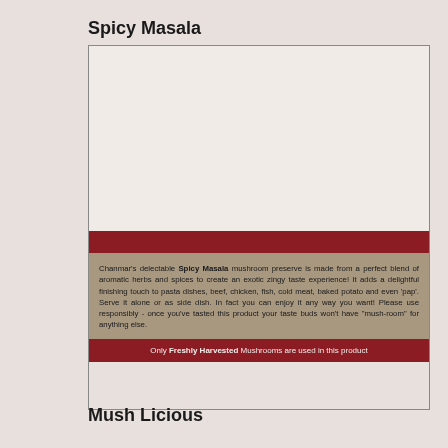Spicy Masala
[Figure (photo): Product label for Spicy Masala mushroom preserve with image area, description text, and footer tagline]
Chanmar's delectable Spicy Masala mushroom preserve is made from a perfect blend of aromatic herbs and spices to create an exotic zingy taste experience! It adds a delightful finishing touch to pasta dishes, beef, chicken, fish, cold meat, baked potato and even 'pap'. Serve it alone or as side dish. In fact you can enjoy it any way you want! Please use responsibly - once you've tasted this product your taste buds won't have "mush-room" for anything else.
Only Freshly Harvested Mushrooms are used in this product
Mush Licious